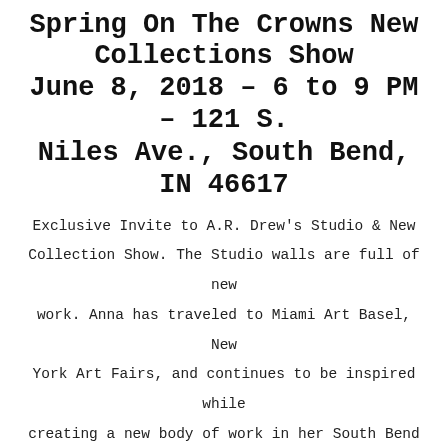Spring On The Crowns New Collections Show June 8, 2018 – 6 to 9 PM – 121 S. Niles Ave., South Bend, IN 46617
Exclusive Invite to A.R. Drew's Studio & New Collection Show. The Studio walls are full of new work. Anna has traveled to Miami Art Basel, New York Art Fairs, and continues to be inspired while creating a new body of work in her South Bend Studio. Her painting reflects Contemporary movements in woman's rights, beautiful abstracts, and self portraits. Her most recent piece in her Crown Series, Crown On Beautiful Boy, highlights a mother and son in today's world. These emerging new works have created a deep visual display of